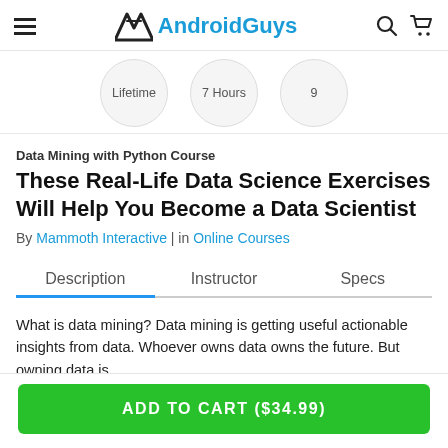AndroidGuys
[Figure (screenshot): Three circles showing Lifetime, 7 Hours, 9]
Data Mining with Python Course
These Real-Life Data Science Exercises Will Help You Become a Data Scientist
By Mammoth Interactive | in Online Courses
Description  Instructor  Specs
What is data mining? Data mining is getting useful actionable insights from data. Whoever owns data owns the future. But owning data is
ADD TO CART ($34.99)